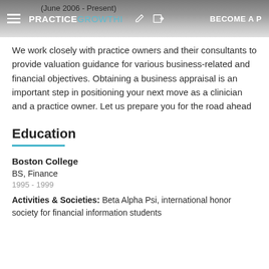(June 2006 - Present)
We work closely with practice owners and their consultants to provide valuation guidance for various business-related and financial objectives. Obtaining a business appraisal is an important step in positioning your next move as a clinician and a practice owner. Let us prepare you for the road ahead
Education
Boston College
BS, Finance
1995 - 1999
Activities & Societies: Beta Alpha Psi, international honor society for financial information students